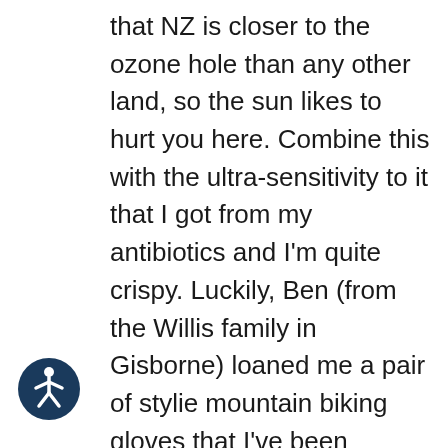that NZ is closer to the ozone hole than any other land, so the sun likes to hurt you here. Combine this with the ultra-sensitivity to it that I got from my antibiotics and I'm quite crispy. Luckily, Ben (from the Willis family in Gisborne) loaned me a pair of stylie mountain biking gloves that I've been wearing while I paddle. This has resulted in: 1. Keeping my hands from getting worse, 2. The faded red-to-pink elastic band on the gloves has made me look quite fashionable, and 3. caused me to drop my paddle on a few occasions. I've been using some of Devon's sweet pink-
[Figure (illustration): Circular dark blue accessibility icon showing a person with arms and legs outstretched in a wheelchair-user symbol style]